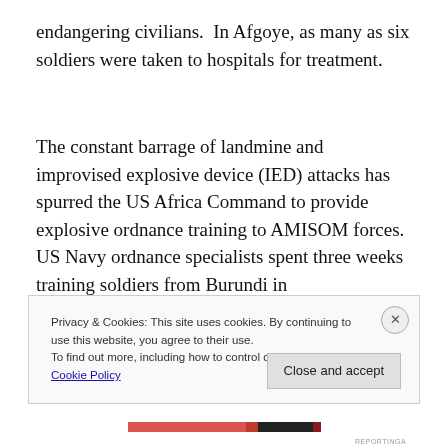endangering civilians.  In Afgoye, as many as six soldiers were taken to hospitals for treatment.
The constant barrage of landmine and improvised explosive device (IED) attacks has spurred the US Africa Command to provide explosive ordnance training to AMISOM forces.  US Navy ordnance specialists spent three weeks training soldiers from Burundi in
Privacy & Cookies: This site uses cookies. By continuing to use this website, you agree to their use.
To find out more, including how to control cookies, see here: Cookie Policy
Close and accept